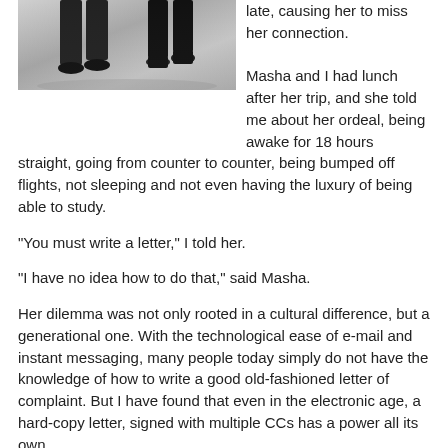[Figure (photo): Black and white photo showing the lower legs and feet of two people standing, cropped at thigh level, with a light/blurred background.]
late, causing her to miss her connection.

Masha and I had lunch after her trip, and she told me about her ordeal, being awake for 18 hours straight, going from counter to counter, being bumped off flights, not sleeping and not even having the luxury of being able to study.
"You must write a letter," I told her.
"I have no idea how to do that," said Masha.
Her dilemma was not only rooted in a cultural difference, but a generational one. With the technological ease of e-mail and instant messaging, many people today simply do not have the knowledge of how to write a good old-fashioned letter of complaint. But I have found that even in the electronic age, a hard-copy letter, signed with multiple CCs has a power all its own.